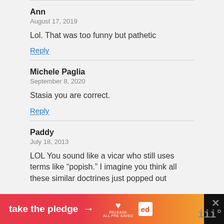Ann
August 17, 2019
Lol. That was too funny but pathetic
Reply
Michele Paglia
September 8, 2020
Stasia you are correct.
Reply
Paddy
July 18, 2013
LOL You sound like a vicar who still uses terms like “popish.” I imagine you think all these similar doctrines just popped out
[Figure (infographic): Orange-red gradient advertisement banner reading 'take the pledge' with arrow, Release logo, and additional icons on dark background with close button]